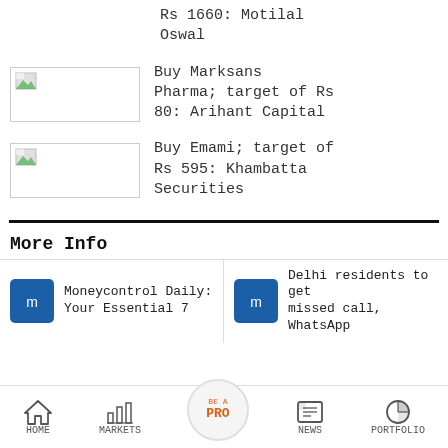Rs 1660: Motilal Oswal
[Figure (photo): Thumbnail image placeholder for Marksans Pharma article]
Buy Marksans Pharma; target of Rs 80: Arihant Capital
[Figure (photo): Thumbnail image placeholder for Emami article]
Buy Emami; target of Rs 595: Khambatta Securities
More Info
Moneycontrol Daily: Your Essential 7
Delhi residents to get missed call, WhatsApp
HOME   MARKETS   BE A PRO   NEWS   PORTFOLIO